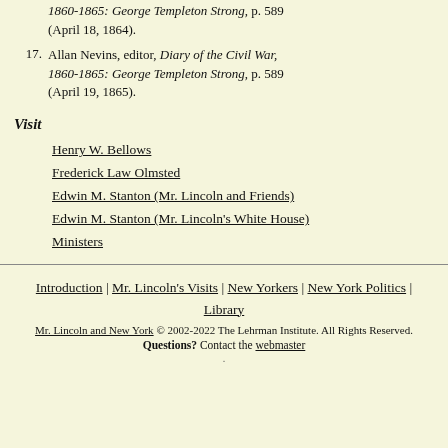1860-1865: George Templeton Strong, p. 589 (April 18, 1864).
17. Allan Nevins, editor, Diary of the Civil War, 1860-1865: George Templeton Strong, p. 589 (April 19, 1865).
Visit
Henry W. Bellows
Frederick Law Olmsted
Edwin M. Stanton (Mr. Lincoln and Friends)
Edwin M. Stanton (Mr. Lincoln's White House)
Ministers
Introduction | Mr. Lincoln's Visits | New Yorkers | New York Politics | Library
Mr. Lincoln and New York © 2002-2022 The Lehrman Institute. All Rights Reserved.
Questions? Contact the webmaster
.